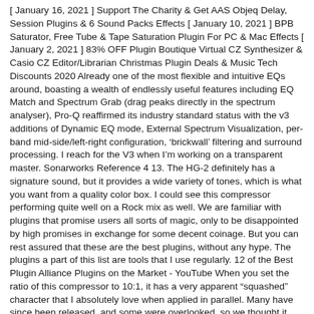[ January 16, 2021 ] Support The Charity & Get AAS Objeq Delay, Session Plugins & 6 Sound Packs Effects [ January 10, 2021 ] BPB Saturator, Free Tube & Tape Saturation Plugin For PC & Mac Effects [ January 2, 2021 ] 83% OFF Plugin Boutique Virtual CZ Synthesizer & Casio CZ Editor/Librarian Christmas Plugin Deals & Music Tech Discounts 2020 Already one of the most flexible and intuitive EQs around, boasting a wealth of endlessly useful features including EQ Match and Spectrum Grab (drag peaks directly in the spectrum analyser), Pro-Q reaffirmed its industry standard status with the v3 additions of Dynamic EQ mode, External Spectrum Visualization, per-band mid-side/left-right configuration, 'brickwall' filtering and surround processing. I reach for the V3 when Iâm working on a transparent master. Sonarworks Reference 4 13. The HG-2 definitely has a signature sound, but it provides a wide variety of tones, which is what you want from a quality color box. I could see this compressor performing quite well on a Rock mix as well. We are familiar with plugins that promise users all sorts of magic, only to be disappointed by high promises in exchange for some decent coinage. But you can rest assured that these are the best plugins, without any hype. The plugins a part of this list are tools that I use regularly. 12 of the Best Plugin Alliance Plugins on the Market - YouTube When you set the ratio of this compressor to 10:1, it has a very apparent âsquashedâ character that I absolutely love when applied in parallel. Many have since been released, and some were overlooked, so we thought it was time to compile a new list. By making use of X-Phase crossover filters, the Brainworx bx_XL V2 splits the pluginâs input signal and lets you limit, level adjust and saturate each signal independent of the other. View All Posts I have occasionally written blog...